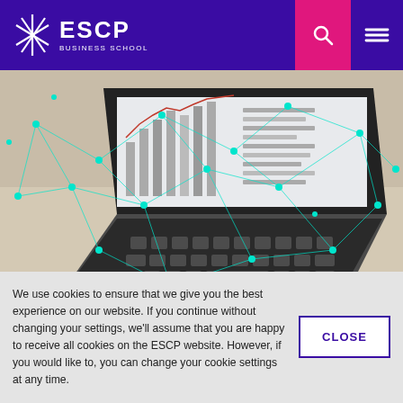ESCP BUSINESS SCHOOL
[Figure (photo): Laptop with keyboard visible at an angle, showing charts/data on screen, overlaid with a network of cyan/teal connected nodes and lines on a light background]
We use cookies to ensure that we give you the best experience on our website. If you continue without changing your settings, we'll assume that you are happy to receive all cookies on the ESCP website. However, if you would like to, you can change your cookie settings at any time.